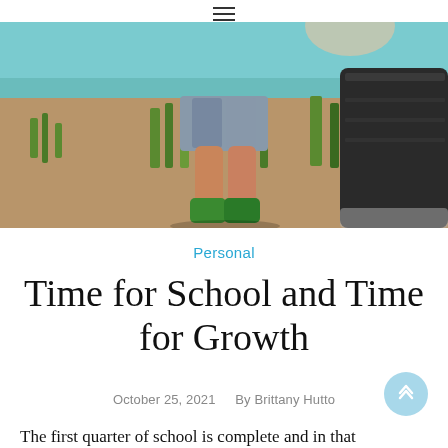≡
[Figure (photo): Child standing outdoors in camo shorts and green boots next to a large black barrel/bucket, with dirt and grass in the background.]
Personal
Time for School and Time for Growth
October 25, 2021  By Brittany Hutto
The first quarter of school is complete and in that